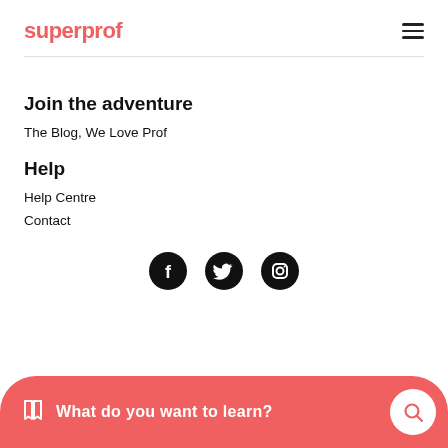superprof
Join the adventure
The Blog, We Love Prof
Help
Help Centre
Contact
[Figure (illustration): Social media icons: Facebook, Twitter, Instagram in black circles]
What do you want to learn?